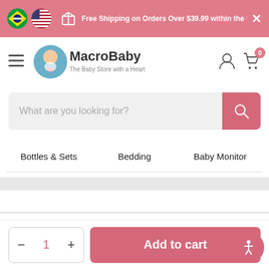Free Shipping on Orders Over $39.99 within the US!*
[Figure (logo): MacroBaby - The Baby Store with a Heart logo with baby icon]
What are you looking for?
Bottles & Sets
Bedding
Baby Monitor
Price Match
Add to cart